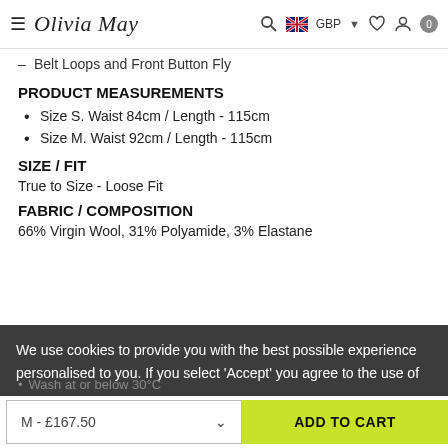Olivia May – GBP navigation header
Belt Loops and Front Button Fly
PRODUCT MEASUREMENTS
Size S. Waist 84cm / Length - 115cm
Size M. Waist 92cm / Length - 115cm
SIZE / FIT
True to Size - Loose Fit
FABRIC / COMPOSITION
66% Virgin Wool, 31% Polyamide, 3% Elastane
We use cookies to provide you with the best possible experience personalised to you. If you select 'Accept' you agree to the use of
Wash at or below 30°C
M - £167.50
ADD TO CART